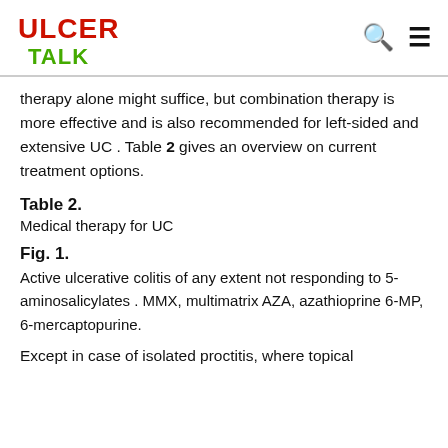ULCER TALK
therapy alone might suffice, but combination therapy is more effective and is also recommended for left-sided and extensive UC . Table 2 gives an overview on current treatment options.
Table 2.
Medical therapy for UC
Fig. 1.
Active ulcerative colitis of any extent not responding to 5-aminosalicylates . MMX, multimatrix AZA, azathioprine 6-MP, 6-mercaptopurine.
Except in case of isolated proctitis, where topical